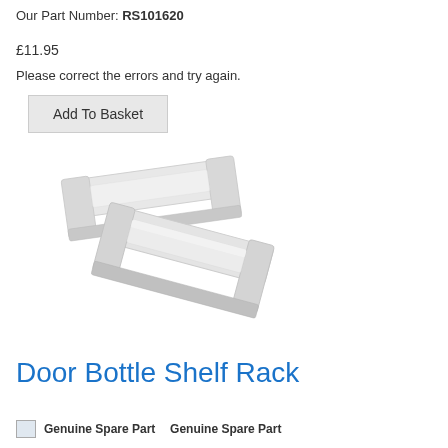Our Part Number: RS101620
£11.95
Please correct the errors and try again.
Add To Basket
[Figure (photo): Two white plastic door bottle shelf rack clips/brackets for a refrigerator, shown at an angle on a white background.]
Door Bottle Shelf Rack
Genuine Spare Part  Genuine Spare Part